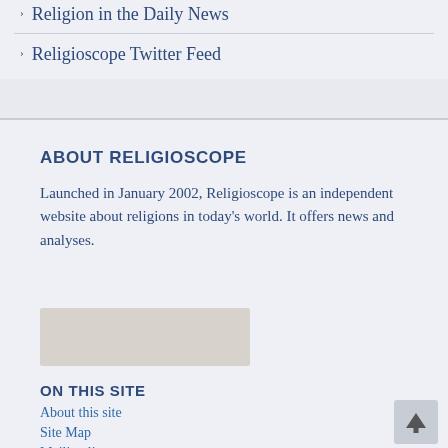Religion in the Daily News
Religioscope Twitter Feed
ABOUT RELIGIOSCOPE
Launched in January 2002, Religioscope is an independent website about religions in today’s world. It offers news and analyses.
[Figure (photo): Partially visible image placeholder in beige/cream tones]
ON THIS SITE
About this site
Site Map
Mailing list